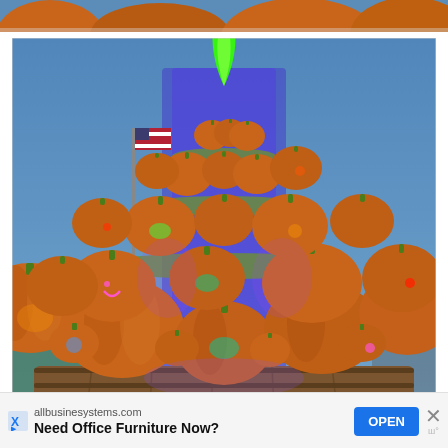[Figure (photo): Partial top edge of a photo showing pumpkins against a blue sky background.]
[Figure (photo): Large pyramidal tower/display of many carved and uncarved jack-o-lantern pumpkins stacked on tiers with hay/straw borders, illuminated with colorful purple and blue lights at dusk. A glowing green flame tops the structure. An American flag is visible in the background on the left. The entire display sits on a large wooden barrel base.]
allbusinesssystems.com Need Office Furniture Now? OPEN